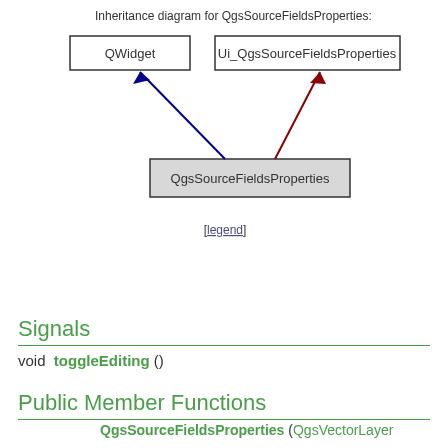[Figure (engineering-diagram): Inheritance diagram for QgsSourceFieldsProperties showing QWidget and Ui_QgsSourceFieldsProperties as parent classes with arrows pointing to QgsSourceFieldsProperties. Blue arrow from QWidget, dark red arrow from Ui_QgsSourceFieldsProperties.]
[legend]
Signals
void toggleEditing ()
Public Member Functions
QgsSourceFieldsProperties (QgsVectorLayer *layer, QWidget *parent=nullptr)
bool addAttribute (const QgsField &field)
Adds an attribute to the table (but does not